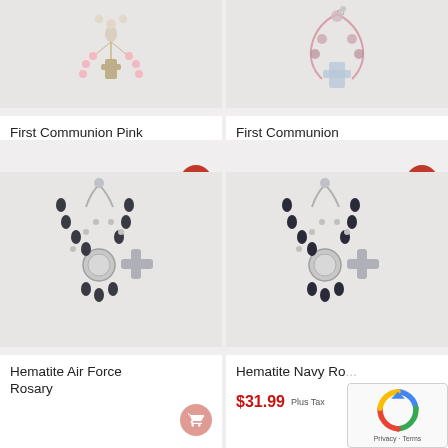[Figure (photo): First Communion Pink Heart Rosary product photo on light grey background]
First Communion Pink Heart Rosary
$28.99 Plus Tax
[Figure (photo): First Communion Rose Glass Rosary product photo on light grey background]
First Communion Rose Glass Rosary
$20.99 Plus Tax
[Figure (photo): Hematite Air Force Rosary product photo on light grey background]
Hematite Air Force Rosary
[Figure (photo): Hematite Navy Rosary product photo on light grey background]
Hematite Navy Ro...
$31.99 Plus Tax